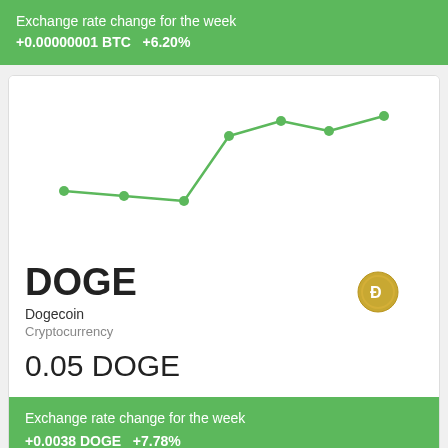Exchange rate change for the week
+0.00000001 BTC   +6.20%
[Figure (line-chart): DOGE weekly price chart]
DOGE
Dogecoin
Cryptocurrency
0.05 DOGE
Exchange rate change for the week
+0.0038 DOGE   +7.78%
Articles   Privacy Policy   Contact Information